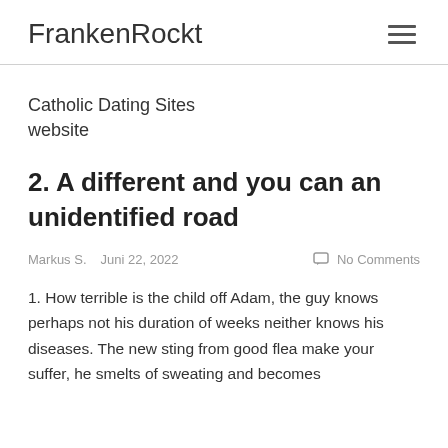FrankenRockt
Catholic Dating Sites website
2. A different and you can an unidentified road
Markus S.   Juni 22, 2022   No Comments
1. How terrible is the child off Adam, the guy knows perhaps not his duration of weeks neither knows his diseases. The new sting from good flea make your suffer, he smelts of sweating and becomes